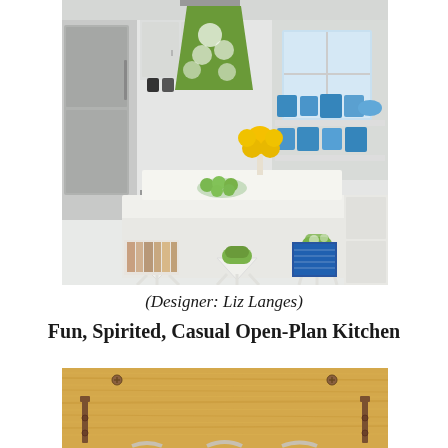[Figure (photo): Bright, white open-plan kitchen with green floral pendant lamp, white modern bar stools with green floral cushions, stainless steel appliances, blue dishware on open shelves, yellow flowers on the island counter, and cookbooks stored under the island.]
(Designer: Liz Langes)
Fun, Spirited, Casual Open-Plan Kitchen
[Figure (photo): Close-up of a light wood surface (counter or butcher block) with metal hardware/screws and bracket legs visible, suggesting a kitchen island or counter underside detail.]